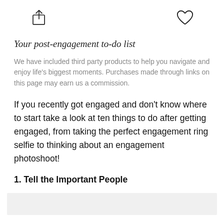[Figure (illustration): Two icons: a share/upload icon (box with arrow pointing up) on the left and a heart outline icon on the right]
Your post-engagement to-do list
We have included third party products to help you navigate and enjoy life's biggest moments. Purchases made through links on this page may earn us a commission.
If you recently got engaged and don't know where to start take a look at ten things to do after getting engaged, from taking the perfect engagement ring selfie to thinking about an engagement photoshoot!
1. Tell the Important People
[Figure (photo): Gray placeholder image area at bottom of page]